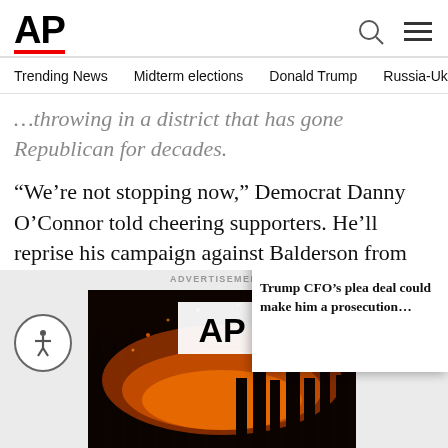AP
Trending News  Midterm elections  Donald Trump  Russia-Ukr
…throwing in a district that has gone Republican for decades.
“We’re not stopping now,” Democrat Danny O’Connor told cheering supporters. He’ll reprise his campaign against Balderson from now through November’s general election.
ADVERTISEMENT
[Figure (photo): Wildfire photo with AP logo overlay; glowing orange fire in dark forested area]
[Figure (screenshot): Video overlay thumbnail showing two men in suits (one in dark suit with red tie, one with glasses), with progress bar and caption: Trump CFO’s plea deal could make him a prosecution…]